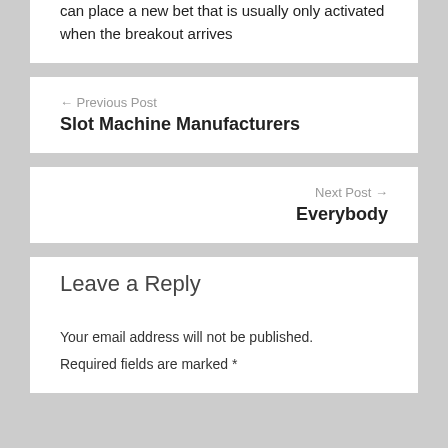can place a new bet that is usually only activated when the breakout arrives
← Previous Post
Slot Machine Manufacturers
Next Post →
Everybody
Leave a Reply
Your email address will not be published.
Required fields are marked *